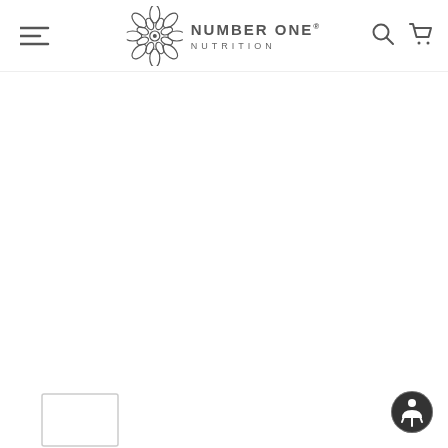[Figure (logo): Number One Nutrition logo with decorative mandala/snowflake graphic on the left and text 'NUMBER ONE® NUTRITION' to the right]
[Figure (other): Hamburger/menu icon (three horizontal lines) on the left side of the header]
[Figure (other): Search icon (magnifying glass) on the right side of the header]
[Figure (other): Shopping cart icon on the right side of the header]
[Figure (other): Accessibility button (person in circle icon) at bottom-right corner]
[Figure (other): Partially visible product image thumbnail at bottom-left corner]